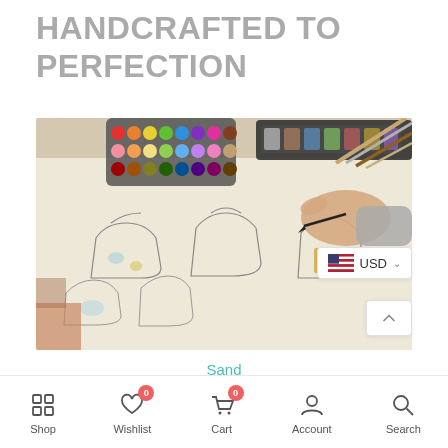HANDCRAFTED TO PERFECTION
[Figure (photo): Designer's hand sketching handbag designs on paper with colorful watercolor paints and brushes on desk]
Sand
- 1 +   ADD TO CART
Shop  Wishlist 0  Cart 0  Account  Search